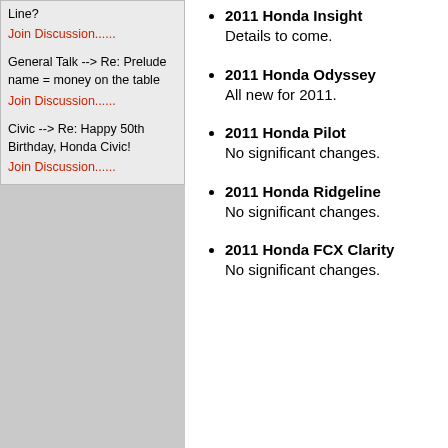Line?
Join Discussion......
General Talk --> Re: Prelude name = money on the table
Join Discussion......
Civic --> Re: Happy 50th Birthday, Honda Civic!
Join Discussion......
2011 Honda Insight
Details to come.
2011 Honda Odyssey
All new for 2011.
2011 Honda Pilot
No significant changes.
2011 Honda Ridgeline
No significant changes.
2011 Honda FCX Clarity
No significant changes.